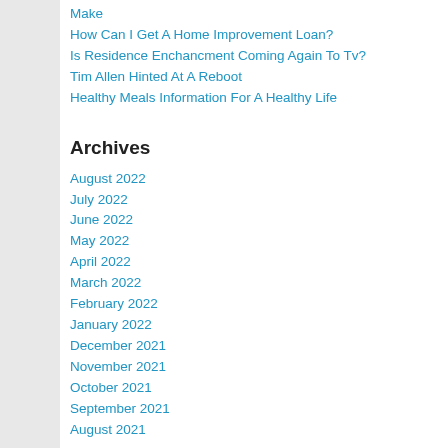Make
How Can I Get A Home Improvement Loan?
Is Residence Enchancment Coming Again To Tv?
Tim Allen Hinted At A Reboot
Healthy Meals Information For A Healthy Life
Archives
August 2022
July 2022
June 2022
May 2022
April 2022
March 2022
February 2022
January 2022
December 2021
November 2021
October 2021
September 2021
August 2021